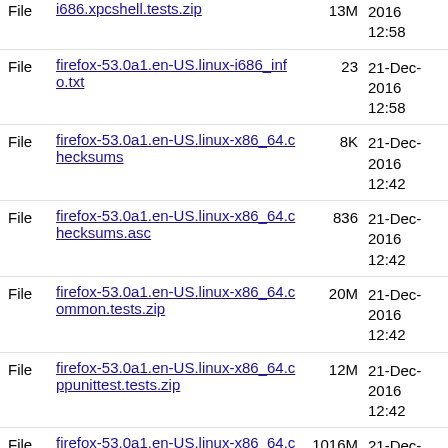File  i686.xpcshell.tests.zip  13M  21-Dec-2016 12:58
File  firefox-53.0a1.en-US.linux-i686_info.txt  23  21-Dec-2016 12:58
File  firefox-53.0a1.en-US.linux-x86_64.checksums  8K  21-Dec-2016 12:42
File  firefox-53.0a1.en-US.linux-x86_64.checksums.asc  836  21-Dec-2016 12:42
File  firefox-53.0a1.en-US.linux-x86_64.common.tests.zip  20M  21-Dec-2016 12:42
File  firefox-53.0a1.en-US.linux-x86_64.cppunittest.tests.zip  12M  21-Dec-2016 12:42
File  firefox-53.0a1.en-US.linux-x86_64.crashreporter-symbols-full.zip  1016M  21-Dec-2016 12:39
File  firefox-53.0a1.en-US.linux-x86_64.crashreporter-symbols.zip  106M  21-Dec-2016 12:41